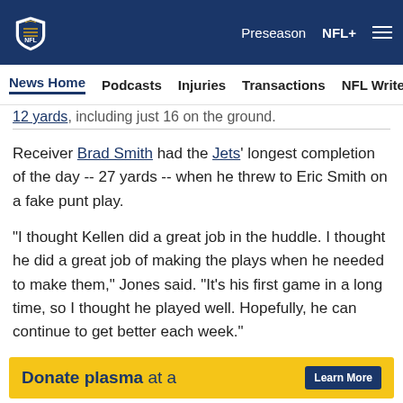NFL - Preseason | NFL+
News Home | Podcasts | Injuries | Transactions | NFL Writers | Se
12 yards, including just 16 on the ground.
Receiver Brad Smith had the Jets' longest completion of the day -- 27 yards -- when he threw to Eric Smith on a fake punt play.
"I thought Kellen did a great job in the huddle. I thought he did a great job of making the plays when he needed to make them," Jones said. "It's his first game in a long time, so I thought he played well. Hopefully, he can continue to get better each week."
[Figure (other): Advertisement banner: Donate plasma at a - Learn More button]
[Figure (other): Social sharing icons row: Facebook, Twitter, Email, Link]